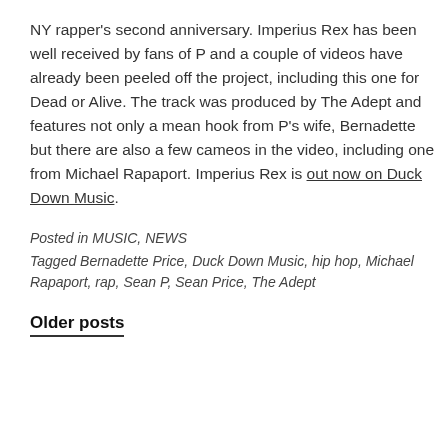NY rapper's second anniversary. Imperius Rex has been well received by fans of P and a couple of videos have already been peeled off the project, including this one for Dead or Alive. The track was produced by The Adept and features not only a mean hook from P's wife, Bernadette but there are also a few cameos in the video, including one from Michael Rapaport. Imperius Rex is out now on Duck Down Music.
Posted in MUSIC, NEWS
Tagged Bernadette Price, Duck Down Music, hip hop, Michael Rapaport, rap, Sean P, Sean Price, The Adept
Older posts